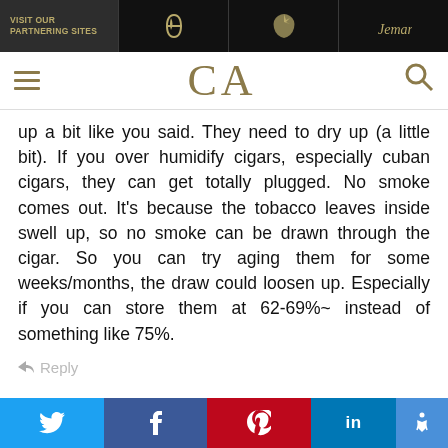VISIT OUR PARTNERING SITES
[Figure (logo): CA logo with hamburger menu and search icon]
up a bit like you said. They need to dry up (a little bit). If you over humidify cigars, especially cuban cigars, they can get totally plugged. No smoke comes out. It's because the tobacco leaves inside swell up, so no smoke can be drawn through the cigar. So you can try aging them for some weeks/months, the draw could loosen up. Especially if you can store them at 62-69%~ instead of something like 75%.
Reply
Twitter Facebook Pinterest LinkedIn Accessibility